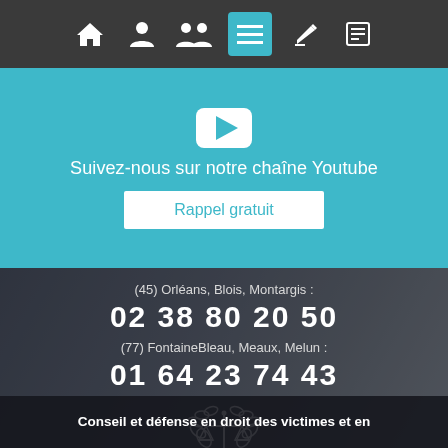Navigation bar with icons: home, person, group, menu (active), edit, newspaper
[Figure (screenshot): Teal banner with YouTube icon, text 'Suivez-nous sur notre chaîne Youtube', and a 'Rappel gratuit' button]
(45) Orléans, Blois, Montargis : 02 38 80 20 50
(77) FontaineBleau, Meaux, Melun : 01 64 23 74 43
[Figure (logo): White justice scales logo with laurel wreath emblem]
Conseil et défense en droit des victimes et en droit du...